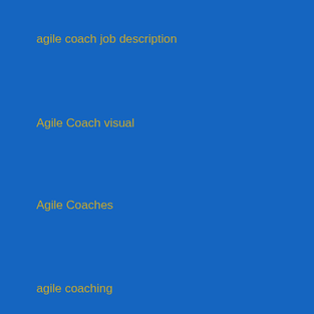agile coach job description
Agile Coach visual
Agile Coaches
agile coaching
Agile Coaching
agile coaching examples
Agile CoE
Agile CoE Consultant
Agile CoE consultant